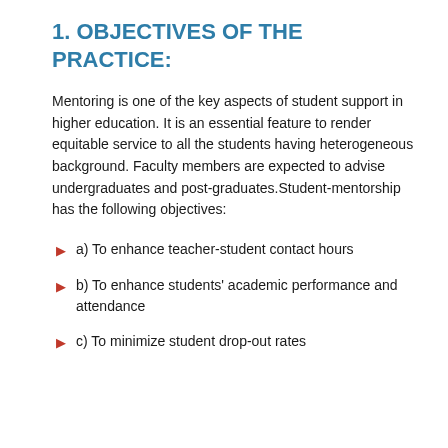1. OBJECTIVES OF THE PRACTICE:
Mentoring is one of the key aspects of student support in higher education. It is an essential feature to render equitable service to all the students having heterogeneous background. Faculty members are expected to advise undergraduates and post-graduates.Student-mentorship has the following objectives:
a) To enhance teacher-student contact hours
b) To enhance students' academic performance and attendance
c) To minimize student drop-out rates